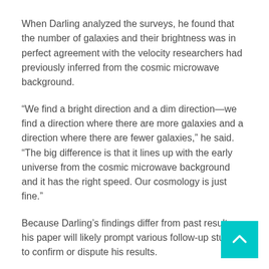When Darling analyzed the surveys, he found that the number of galaxies and their brightness was in perfect agreement with the velocity researchers had previously inferred from the cosmic microwave background.
“We find a bright direction and a dim direction—we find a direction where there are more galaxies and a direction where there are fewer galaxies,” he said. “The big difference is that it lines up with the early universe from the cosmic microwave background and it has the right speed. Our cosmology is just fine.”
Because Darling’s findings differ from past results, his paper will likely prompt various follow-up studies to confirm or dispute his results.